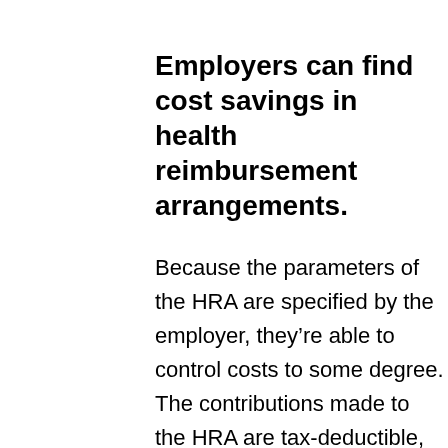Employers can find cost savings in health reimbursement arrangements.
Because the parameters of the HRA are specified by the employer, they’re able to control costs to some degree. The contributions made to the HRA are tax-deductible, which translates to savings. Additionally, employers may find that offering an HRA instead of other benefits could save money because only those who actually have expenses will use the money. There’s also less